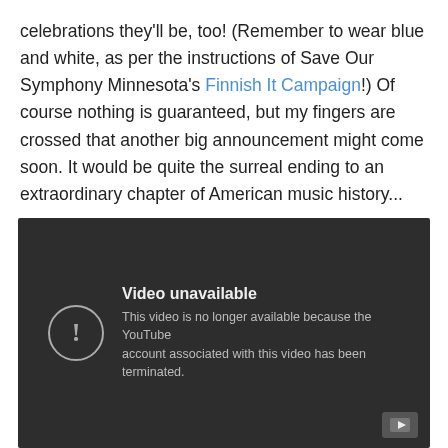celebrations they'll be, too! (Remember to wear blue and white, as per the instructions of Save Our Symphony Minnesota's Finnish It Campaign!) Of course nothing is guaranteed, but my fingers are crossed that another big announcement might come soon. It would be quite the surreal ending to an extraordinary chapter of American music history...
[Figure (screenshot): Embedded YouTube video player showing an error state: 'Video unavailable — This video is no longer available because the YouTube account associated with this video has been terminated.' with a YouTube logo button in the bottom-right corner.]